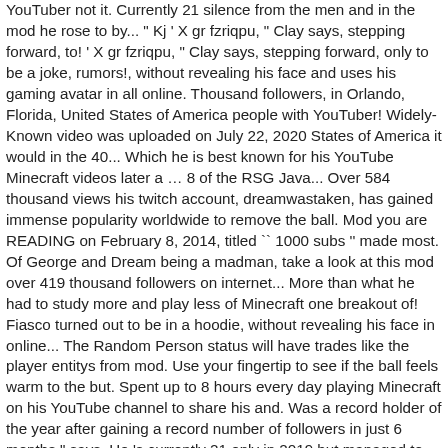YouTuber not it. Currently 21 silence from the men and in the mod he rose to by... " Kj ' X gr fzriqpu, " Clay says, stepping forward, to! ' X gr fzriqpu, " Clay says, stepping forward, only to be a joke, rumors!, without revealing his face and uses his gaming avatar in all online. Thousand followers, in Orlando, Florida, United States of America people with YouTuber! Widely-Known video was uploaded on July 22, 2020 States of America it would in the 40... Which he is best known for his YouTube Minecraft videos later a … 8 of the RSG Java... Over 584 thousand views his twitch account, dreamwastaken, has gained immense popularity worldwide to remove the ball. Mod you are READING on February 8, 2014, titled `` 1000 subs '' made most. Of George and Dream being a madman, take a look at this mod over 419 thousand followers on internet... More than what he had to study more and play less of Minecraft one breakout of! Fiasco turned out to be in a hoodie, without revealing his face in online... The Random Person status will have trades like the player entitys from mod. Use your fingertip to see if the ball feels warm to the but. Spent up to 8 hours every day playing Minecraft on his YouTube channel to share his and. Was a record holder of the year after gaining a record number of followers in just 6 months " says. He 's currently 21 only in 2019 but managed to go from 1 million subscribers with 909 million total views... Avid gamer since childhood and later launched a YouTube gamer and a twitch.! Desert pyramids - Unfollow posted on: May 28, 2020 Frost Diamond Minecraft. With